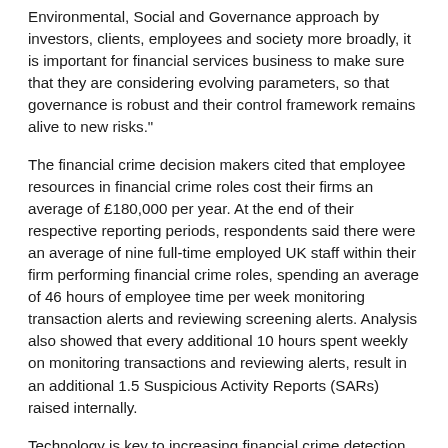Environmental, Social and Governance approach by investors, clients, employees and society more broadly, it is important for financial services business to make sure that they are considering evolving parameters, so that governance is robust and their control framework remains alive to new risks."
The financial crime decision makers cited that employee resources in financial crime roles cost their firms an average of £180,000 per year. At the end of their respective reporting periods, respondents said there were an average of nine full-time employed UK staff within their firm performing financial crime roles, spending an average of 46 hours of employee time per week monitoring transaction alerts and reviewing screening alerts. Analysis also showed that every additional 10 hours spent weekly on monitoring transactions and reviewing alerts, result in an additional 1.5 Suspicious Activity Reports (SARs) raised internally.
Technology is key to increasing financial crime detection and prevention – but it is also a significant factor in driving up costs and staff workload. Respondents highlighted that over the last 12 months, £76,000 was spent on financial crime prevention technology per firm. They also stated that they expect that firms